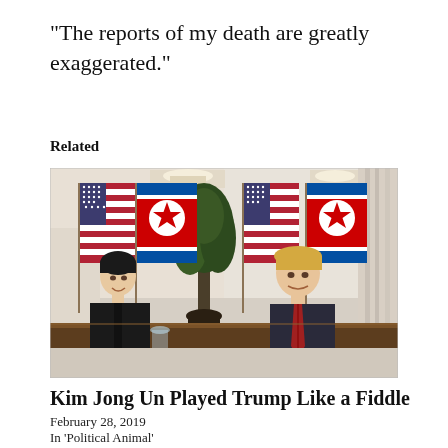“The reports of my death are greatly exaggerated.”
Related
[Figure (photo): Photo of Kim Jong Un and Donald Trump seated at a table, smiling, with American and North Korean flags behind them, during a meeting in 2019.]
Kim Jong Un Played Trump Like a Fiddle
February 28, 2019
In 'Political Animal'